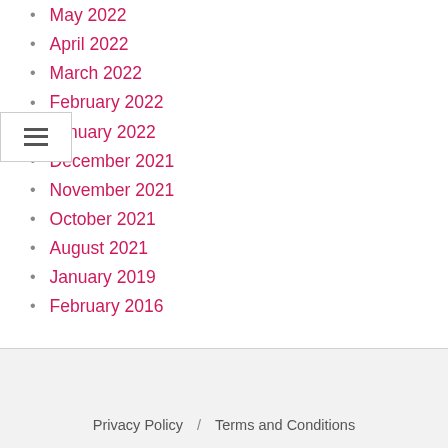May 2022
April 2022
March 2022
February 2022
January 2022
December 2021
November 2021
October 2021
August 2021
January 2019
February 2016
Privacy Policy / Terms and Conditions